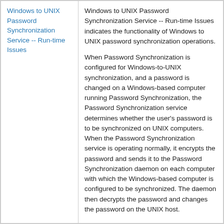Windows to UNIX Password Synchronization Service -- Run-time Issues
Windows to UNIX Password Synchronization Service -- Run-time Issues indicates the functionality of Windows to UNIX password synchronization operations.

When Password Synchronization is configured for Windows-to-UNIX synchronization, and a password is changed on a Windows-based computer running Password Synchronization, the Password Synchronization service determines whether the user's password is to be synchronized on UNIX computers. When the Password Synchronization service is operating normally, it encrypts the password and sends it to the Password Synchronization daemon on each computer with which the Windows-based computer is configured to be synchronized. The daemon then decrypts the password and changes the password on the UNIX host.